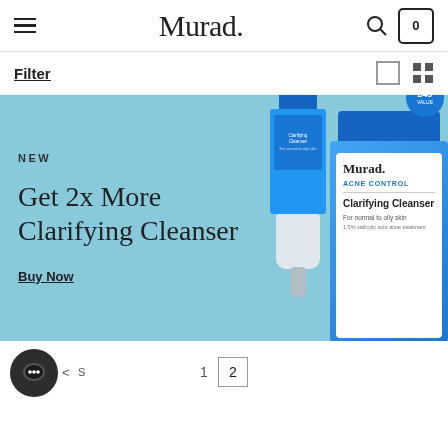Murad. — Navigation bar with hamburger menu, logo, search and cart icons
Filter
[Figure (photo): Promotional banner with light blue background showing two Murad Acne Control Clarifying Cleanser bottles. Text reads: NEW — Get 2x More Clarifying Cleanser — Buy Now]
Chat button | < | 1  2 (pagination)